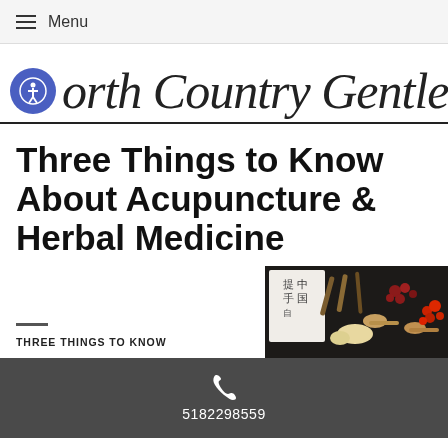Menu
[Figure (logo): Accessibility icon (blue circle with person figure) followed by cursive script text reading 'North Country Gentle']
Three Things to Know About Acupuncture & Herbal Medicine
[Figure (photo): Photo of Chinese herbal medicine items including dried herbs, berries, seeds, and wooden spoons on a dark background with Chinese calligraphy paper]
THREE THINGS TO KNOW
5182298559